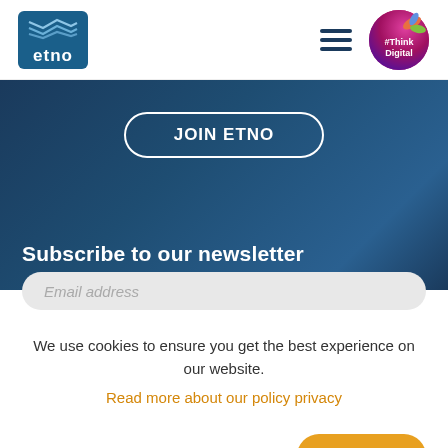[Figure (logo): ETNO logo - blue rounded square with wave lines and 'etno' text in white, plus #ThinkDigital colorful badge on right, and hamburger menu icon]
[Figure (infographic): Dark navy blue hero section with 'JOIN ETNO' button outlined in white with rounded pill shape]
Subscribe to our newsletter
Email address (input field placeholder)
We use cookies to ensure you get the best experience on our website.
Read more about our policy privacy
I accept cookies from this site
AGREE